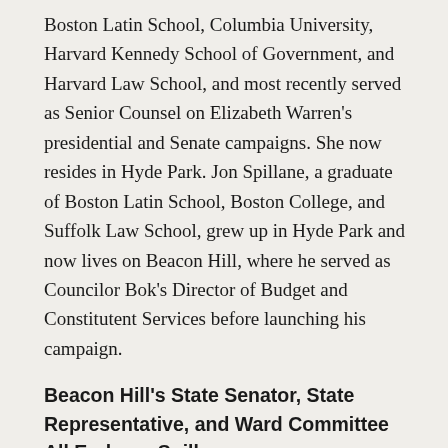Boston Latin School, Columbia University, Harvard Kennedy School of Government, and Harvard Law School, and most recently served as Senior Counsel on Elizabeth Warren's presidential and Senate campaigns. She now resides in Hyde Park. Jon Spillane, a graduate of Boston Latin School, Boston College, and Suffolk Law School, grew up in Hyde Park and now lives on Beacon Hill, where he served as Councilor Bok's Director of Budget and Constitutent Services before launching his campaign.
Beacon Hill's State Senator, State Representative, and Ward Committee All Endorse Spillane
This week, candidate for Boston City Council At-Large Jon Spillane released a major round of Beacon Hill area endorsements.
Senator and Representative State Rep candidate to and